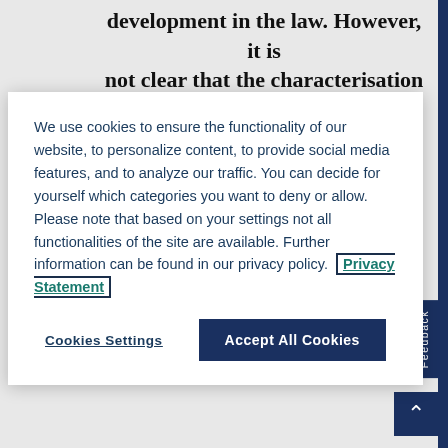development in the law. However, it is not clear that the characterisation
We use cookies to ensure the functionality of our website, to personalize content, to provide social media features, and to analyze our traffic. You can decide for yourself which categories you want to deny or allow. Please note that based on your settings not all functionalities of the site are available. Further information can be found in our privacy policy. Privacy Statement
Cookies Settings
Accept All Cookies
States to questions of territorial sovereignty.⁹ The tribunal may also have been mindful that the position it took on the matter could have implications for other States, UNCLOS being a treaty with 168 Parties, a number of which have unresolved territorial disputes,³⁰ and a treaty that